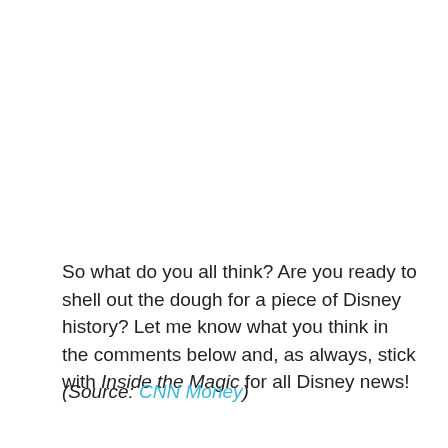So what do you all think? Are you ready to shell out the dough for a piece of Disney history? Let me know what you think in the comments below and, as always, stick with Inside the Magic for all Disney news!
(Source: CNN Money)